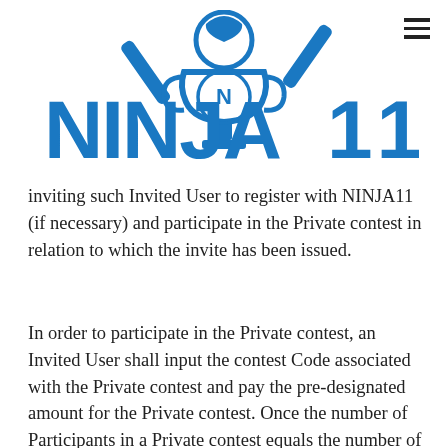[Figure (logo): Ninja11 fantasy cricket logo with trophy, cricket helmet and bats, in blue color]
inviting such Invited User to register with NINJA11 (if necessary) and participate in the Private contest in relation to which the invite has been issued.
In order to participate in the Private contest, an Invited User shall input the contest Code associated with the Private contest and pay the pre-designated amount for the Private contest. Once the number of Participants in a Private contest equals the number of pre-specified